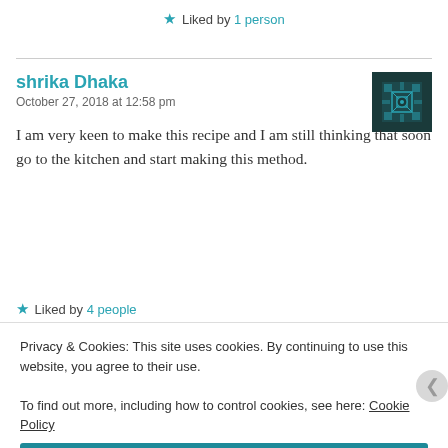★ Liked by 1 person
shrika Dhaka
October 27, 2018 at 12:58 pm
[Figure (illustration): Avatar/identicon for user shrika Dhaka — teal geometric pattern on dark background]
I am very keen to make this recipe and I am still thinking that soon go to the kitchen and start making this method.
★ Liked by 4 people
Privacy & Cookies: This site uses cookies. By continuing to use this website, you agree to their use.
To find out more, including how to control cookies, see here: Cookie Policy
Close and accept